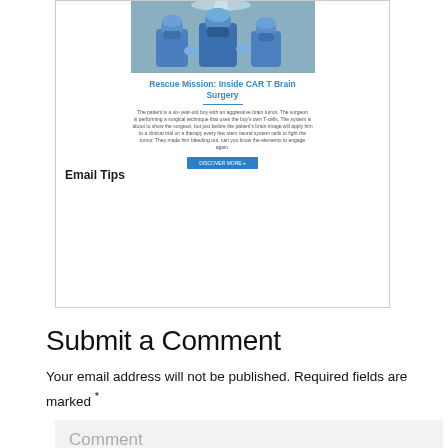[Figure (screenshot): Embedded article card showing surgical team photo and article preview for 'Rescue Mission: Inside CAR T Brain Surgery' with a blue 'Discover More' button]
Email Tips
Submit a Comment
Your email address will not be published. Required fields are marked *
Comment